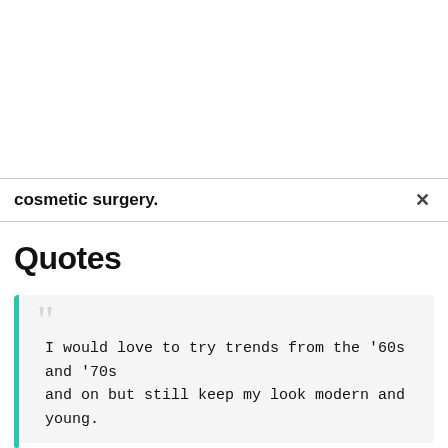cosmetic surgery.
Quotes
I would love to try trends from the '60s and '70s and on but still keep my look modern and young.
Bella Hadid